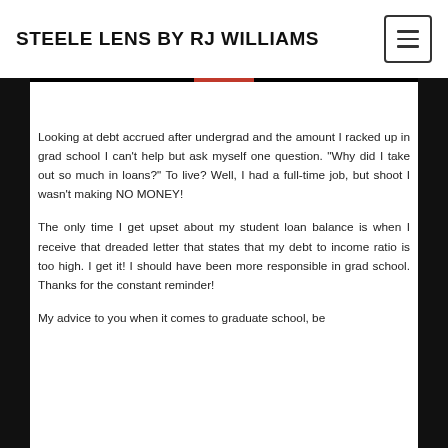STEELE LENS BY RJ WILLIAMS
Looking at debt accrued after undergrad and the amount I racked up in grad school I can’t help but ask myself one question. “Why did I take out so much in loans?” To live? Well, I had a full-time job, but shoot I wasn’t making NO MONEY!
The only time I get upset about my student loan balance is when I receive that dreaded letter that states that my debt to income ratio is too high. I get it! I should have been more responsible in grad school. Thanks for the constant reminder!
My advice to you when it comes to graduate school, be